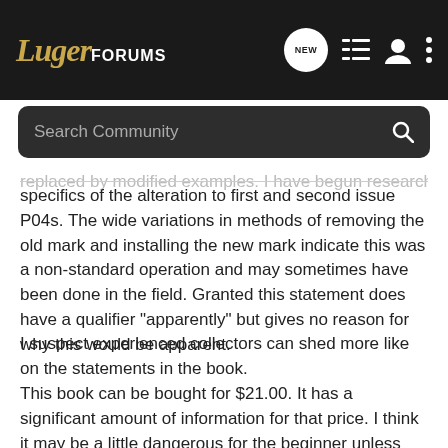LugerFORUMS
replaced by modified examples. I have begun researching the specifics of the alteration to first and second issue P04s. The wide variations in methods of removing the old mark and installing the new mark indicate this was a non-standard operation and may sometimes have been done in the field. Granted this statement does have a qualifier "apparently" but gives no reason for why this would be apparent.
I suspect experienced collectors can shed more like on the statements in the book.
This book can be bought for $21.00. It has a significant amount of information for that price. I think it may be a little dangerous for the beginner unless you realize that you need to exercise care in using the information.